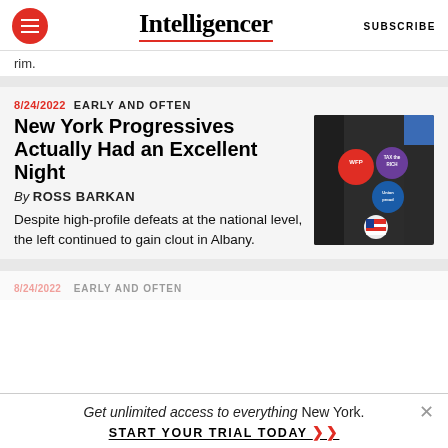Intelligencer | SUBSCRIBE
rim.
8/24/2022  EARLY AND OFTEN
New York Progressives Actually Had an Excellent Night
By ROSS BARKAN
Despite high-profile defeats at the national level, the left continued to gain clout in Albany.
[Figure (photo): Close-up photo of political buttons/pins on a dark jacket including WFP, TAX the RICH, Union Proud, and a US flag pin]
Get unlimited access to everything New York. START YOUR TRIAL TODAY